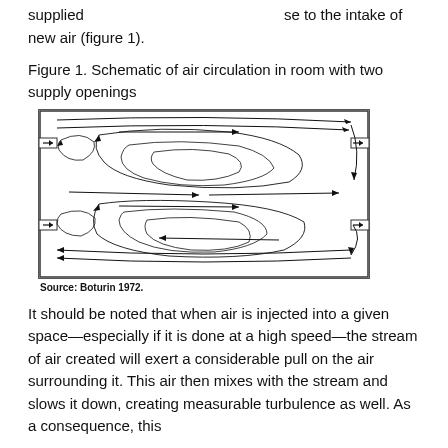supplied…se to the intake of new air (figure 1).
Figure 1. Schematic of air circulation in room with two supply openings
[Figure (schematic): Schematic diagram showing air circulation patterns in a room with two supply openings. Airflow streamlines show two large counter-rotating vortices with arrows indicating direction. Inlet ducts are shown on the left and outlet on the right.]
Source: Boturin 1972.
It should be noted that when air is injected into a given space—especially if it is done at a high speed—the stream of air created will exert a considerable pull on the air surrounding it. This air then mixes with the stream and slows it down, creating measurable turbulence as well. As a consequence, this